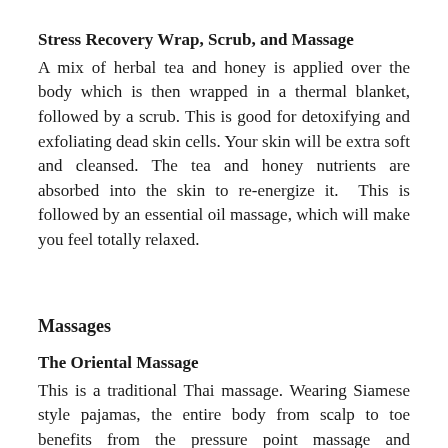Stress Recovery Wrap, Scrub, and Massage
A mix of herbal tea and honey is applied over the body which is then wrapped in a thermal blanket, followed by a scrub. This is good for detoxifying and exfoliating dead skin cells. Your skin will be extra soft and cleansed. The tea and honey nutrients are absorbed into the skin to re-energize it.  This is followed by an essential oil massage, which will make you feel totally relaxed.
Massages
The Oriental Massage
This is a traditional Thai massage. Wearing Siamese style pajamas, the entire body from scalp to toe benefits from the pressure point massage and stretching movements.
Essential Oil Massage